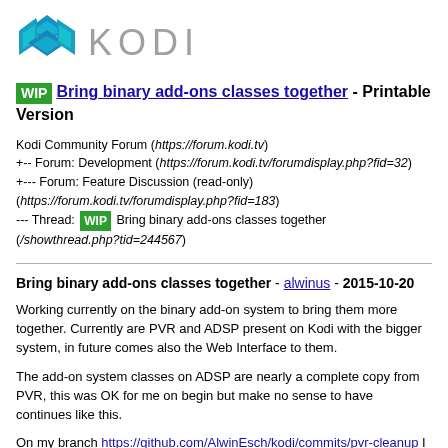[Figure (logo): Kodi logo with blue diamond shape and KODI text in grey]
WIP Bring binary add-ons classes together - Printable Version
Kodi Community Forum (https://forum.kodi.tv)
+-- Forum: Development (https://forum.kodi.tv/forumdisplay.php?fid=32)
+--- Forum: Feature Discussion (read-only) (https://forum.kodi.tv/forumdisplay.php?fid=183)
--- Thread: WIP Bring binary add-ons classes together (/showthread.php?tid=244567)
Bring binary add-ons classes together - alwinus - 2015-10-20
Working currently on the binary add-on system to bring them more together. Currently are PVR and ADSP present on Kodi with the bigger system, in future comes also the Web Interface to them.
The add-on system classes on ADSP are nearly a complete copy from PVR, this was OK for me on begin but make no sense to have continues like this.
On my branch https://github.com/AlwinEsch/kodi/commits/pvr-cleanup I has now created a combination of the classes with the new "CBinaryAddons" which becomes set by "template <typename T, class